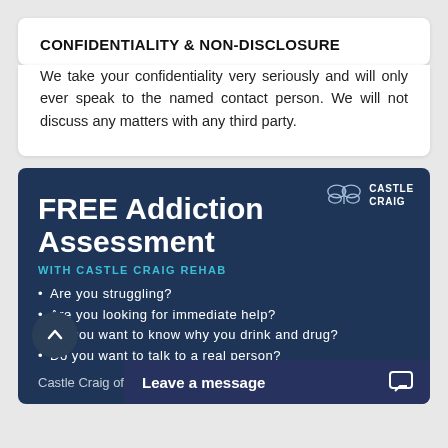CONFIDENTIALITY & NON-DISCLOSURE
We take your confidentiality very seriously and will only ever speak to the named contact person. We will not discuss any matters with any third party.
[Figure (infographic): Castle Craig Rehab advertisement banner on dark navy background. Includes Castle Craig logo (butterfly icon + text) in top right. Large white bold heading 'FREE Addiction Assessment', teal subtitle 'WITH CASTLE CRAIG REHAB', followed by bullet points: 'Are you struggling?', 'Are you looking for immediate help?', 'Do you want to know why you drink and drug?', 'Do you want to talk to a real person?'. Bottom shows partial text 'Castle Craig of...' with a 'Leave a message' chat bar overlay and a circular scroll-up button.]